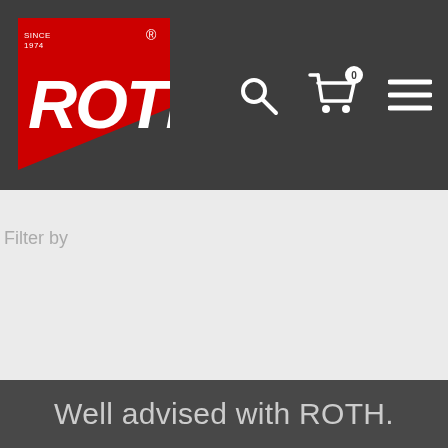[Figure (logo): ROTH company logo — white text on red background with diagonal cut corner, registered trademark symbol]
[Figure (illustration): Navigation icons: search magnifying glass, shopping cart with badge showing 0, hamburger menu]
Filter by
Well advised with ROTH.